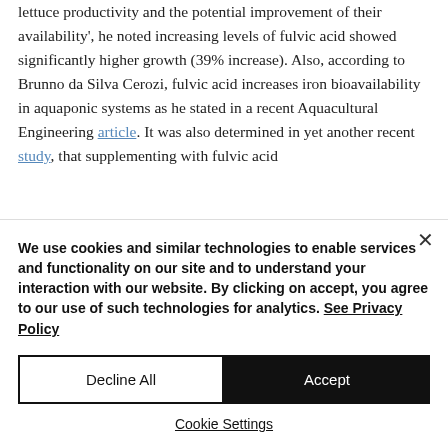lettuce productivity and the potential improvement of their availability', he noted increasing levels of fulvic acid showed significantly higher growth (39% increase). Also, according to Brunno da Silva Cerozi, fulvic acid increases iron bioavailability in aquaponic systems as he stated in a recent Aquacultural Engineering article. It was also determined in yet another recent study, that supplementing with fulvic acid
We use cookies and similar technologies to enable services and functionality on our site and to understand your interaction with our website. By clicking on accept, you agree to our use of such technologies for analytics. See Privacy Policy
Decline All
Accept
Cookie Settings